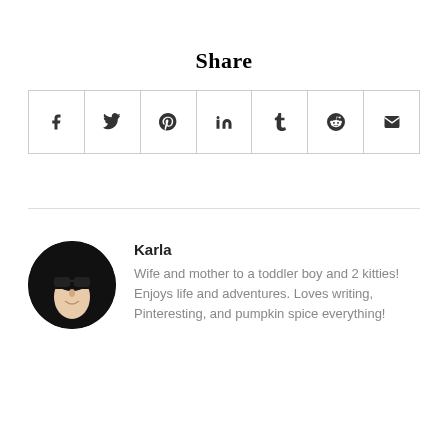Share
[Figure (infographic): Social share icons row: Facebook, Twitter, Pinterest, LinkedIn, Tumblr, Reddit, Email]
Karla
Wife and mother to a toddler boy and 2 kitties! Enjoys life and adventures. Loves writing, Pinteresting, and pumpkin spice everything!